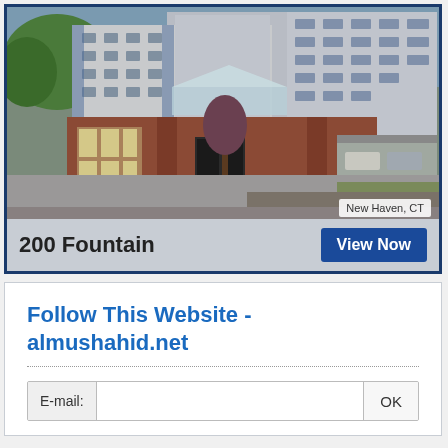[Figure (photo): Exterior photo of 200 Fountain apartment building in New Haven, CT — brick entrance pavilion with glass canopy, multi-story grey and blue residential towers behind, trees and parking area]
New Haven, CT
200 Fountain
View Now
Follow This Website - almushahid.net
E-mail:
OK